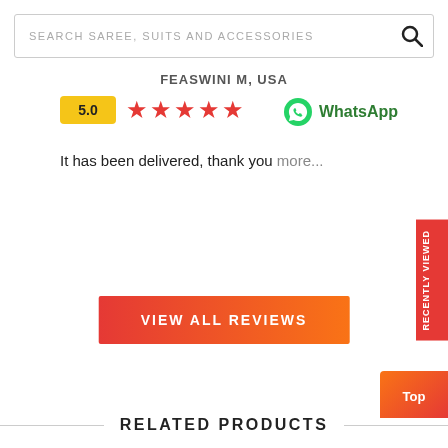SEARCH SAREE, SUITS AND ACCESSORIES
FEASWINI M, USA
5.0 ★★★★★
WhatsApp
It has been delivered, thank you more...
VIEW ALL REVIEWS
Recently Viewed
Top
RELATED PRODUCTS